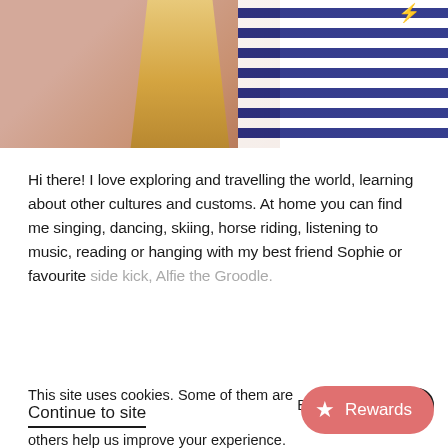[Figure (photo): Photo of two people partially visible — blonde hair, skin/arm visible on left, person in navy-and-white striped shirt on right. Top portion of image cropped.]
Hi there! I love exploring and travelling the world, learning about other cultures and customs. At home you can find me singing, dancing, skiing, horse riding, listening to music, reading or hanging with my best friend Sophie or favourite side kick, Alfie the Groodle.
This site uses cookies. Some of them are others help us improve your experience. Read Privacy Policy
Back to the top
Continue to site
Rewards